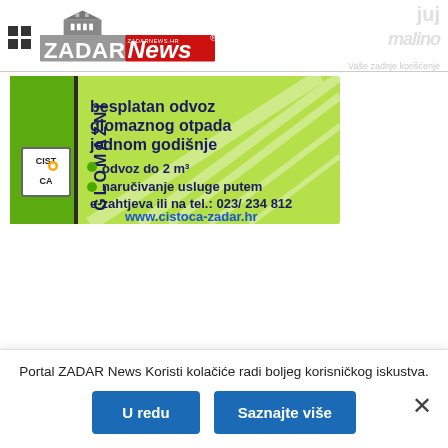[Figure (logo): ZADAR News logo with zadarnews.hr text, red and grey coloring]
[Figure (infographic): Advertisement banner for Cistoca Zadar - besplatan odvoz glomaznog otpada jednom godišnje, odvoz do 2 m3, naručivanje usluge putem e-zahtjeva ili na tel.: 023/234 812, www.cistoca-zadar.hr]
Portal ZADAR News Koristi kolačiće radi boljeg korisničkog iskustva.
U redu
Saznajte više